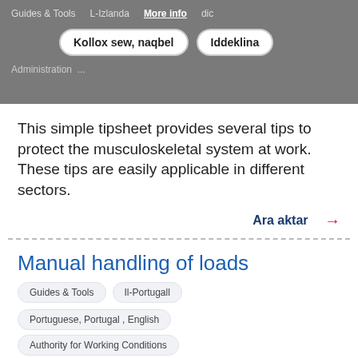Guides & Tools   L-Izlanda   More info   dic   Administration   ...
Kollox sew, naqbel   Iddeklina
This simple tipsheet provides several tips to protect the musculoskeletal system at work. These tips are easily applicable in different sectors.
Ara aktar →
Manual handling of loads
Guides & Tools   Il-Portugall   Portuguese, Portugal , English   Authority for Working Conditions
This guide presents the risks factors related to the manual handling of loads, the biomechanical principles of safety and economy of effort, and how to use the body.